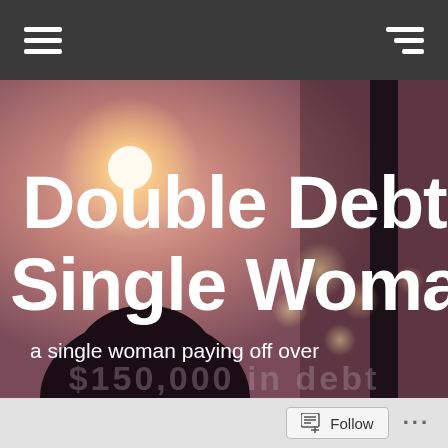Navigation bar with hamburger menus
[Figure (illustration): Blog header image: silhouette of a woman seen from behind against a warm bokeh night cityscape background with a lamp post glow on the left and a dark vertical divider on the right. Large white bold text reads 'Double Debt Single Woman' and subtitle text reads 'a single woman paying off over']
Double Debt Single Woman
a single woman paying off over
Follow   ...